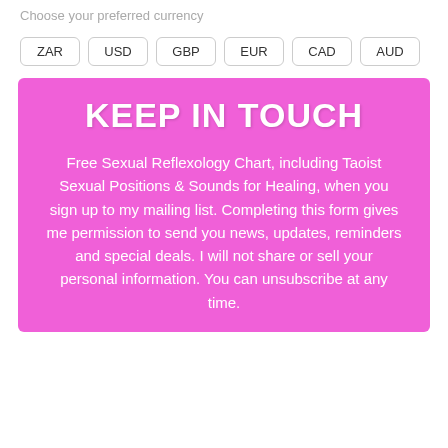Choose your preferred currency
ZAR  USD  GBP  EUR  CAD  AUD
KEEP IN TOUCH
Free Sexual Reflexology Chart, including Taoist Sexual Positions & Sounds for Healing, when you sign up to my mailing list. Completing this form gives me permission to send you news, updates, reminders and special deals. I will not share or sell your personal information. You can unsubscribe at any time.